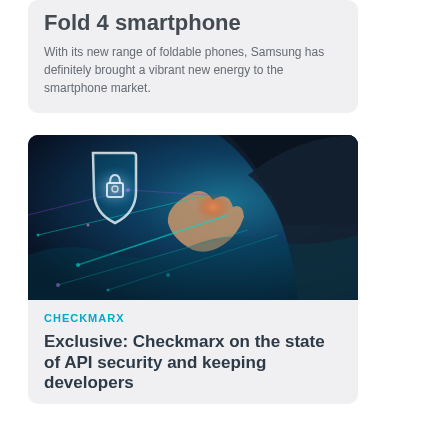Fold 4 smartphone
With its new range of foldable phones, Samsung has definitely brought a vibrant new energy to the smartphone market.
[Figure (photo): A person in a suit holding a glowing digital security shield with a padlock icon and network connections, representing cybersecurity and API security.]
CHECKMARX
Exclusive: Checkmarx on the state of API security and keeping developers